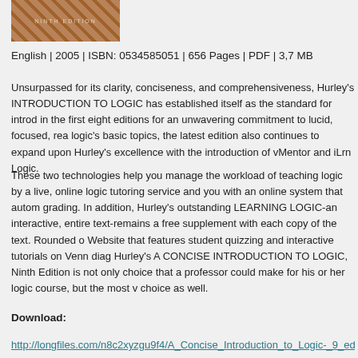[Figure (photo): Book cover image showing cracked earth/desert texture with 'NINTH EDITION' text overlay]
English | 2005 | ISBN: 0534585051 | 656 Pages | PDF | 3,7 MB
Unsurpassed for its clarity, conciseness, and comprehensiveness, Hurley's INTRODUCTION TO LOGIC has established itself as the standard for introduction in the first eight editions for an unwavering commitment to lucid, focused, readable logic's basic topics, the latest edition also continues to expand upon Hurley's excellence with the introduction of vMentor and iLrn Logic.
These two technologies help you manage the workload of teaching logic by a live, online logic tutoring service and you with an online system that automatically grading. In addition, Hurley's outstanding LEARNING LOGIC-an interactive, entire text-remains a free supplement with each copy of the text. Rounded out Website that features student quizzing and interactive tutorials on Venn diagrams Hurley's A CONCISE INTRODUCTION TO LOGIC, Ninth Edition is not only choice that a professor could make for his or her logic course, but the most valuable choice as well.
Download:
http://longfiles.com/n8c2xyzgu9f4/A_Concise_Introduction_to_Logic-_9_edit